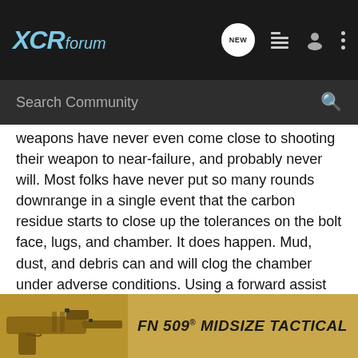XCRforum
Search Community
weapons have never even come close to shooting their weapon to near-failure, and probably never will. Most folks have never put so many rounds downrange in a single event that the carbon residue starts to close up the tolerances on the bolt face, lugs, and chamber. It does happen. Mud, dust, and debris can and will clog the chamber under adverse conditions. Using a forward assist to force the bolt into battery was a way to temporarily remedy these types of malfunctions on-the-fly.
Tapping the magazine applies for the same reason. Under fire, the last thing you are going to do is worry about bending your feed lips. Soldiers are frequently issued magazines that have worn or weakened springs and followers, allowing 31 or 32 rounds t or spring m ne with
[Figure (screenshot): Advertisement banner for FN 509 Midsize Tactical pistol, showing a gold-colored handgun on the left and bold text 'FN 509 MIDSIZE TACTICAL' on a gold/tan background.]